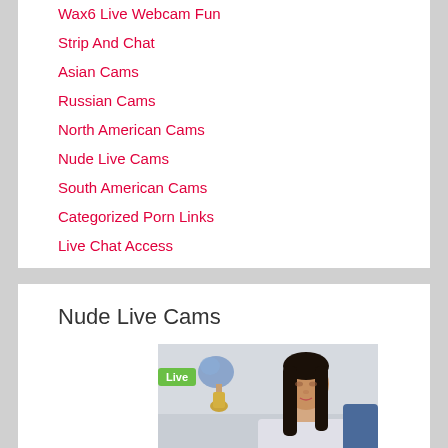Wax6 Live Webcam Fun
Strip And Chat
Asian Cams
Russian Cams
North American Cams
Nude Live Cams
South American Cams
Categorized Porn Links
Live Chat Access
Nude Live Cams
[Figure (photo): Live webcam stream thumbnail showing a woman with long dark hair, with a green 'Live' badge overlay, flowers and interior visible in background]